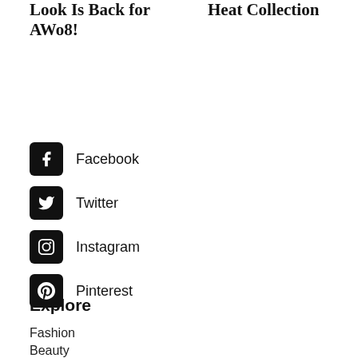Look Is Back for AWo8!
Heat Collection
Facebook
Twitter
Instagram
Pinterest
Explore
Fashion
Beauty